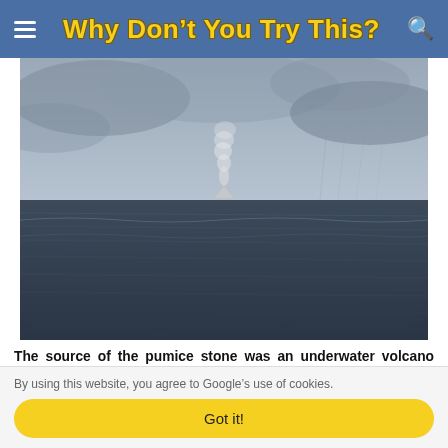Why Don't You Try This?
[Figure (photo): Ocean scene with dark choppy water in foreground and a small distant underwater volcano or smoke plume rising at the horizon under a grey overcast sky.]
The source of the pumice stone was an underwater volcano that was
By using this website, you agree to Google's use of cookies.